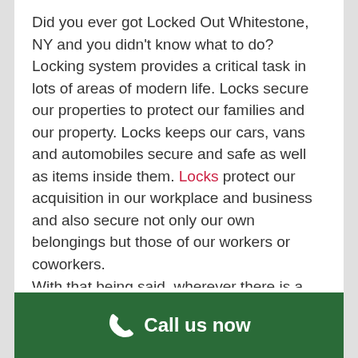Did you ever got Locked Out Whitestone, NY and you didn't know what to do? Locking system provides a critical task in lots of areas of modern life. Locks secure our properties to protect our families and our property. Locks keeps our cars, vans and automobiles secure and safe as well as items inside them. Locks protect our acquisition in our workplace and business and also secure not only our own belongings but those of our workers or coworkers.
With that being said, wherever there is a lock, there is certainly a possible for a lockout. When you find yourself locked out of your house, car or company and you need a locksmith in Whitestone New-York, call (718) 776-2050. As your Locked Out Whitestone...
[Figure (other): Green call-to-action footer bar with phone icon and text 'Call us now']